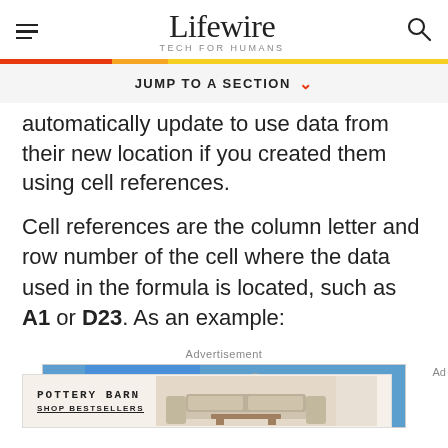Lifewire TECH FOR HUMANS
automatically update to use data from their new location if you created them using cell references.
Cell references are the column letter and row number of the cell where the data used in the formula is located, such as A1 or D23. As an example:
Advertisement
[Figure (screenshot): Advertisement banner showing Mandy Moore Stand Up To Cancer, and a Pottery Barn ad with sofa furniture and SHOP BESTSELLERS text]